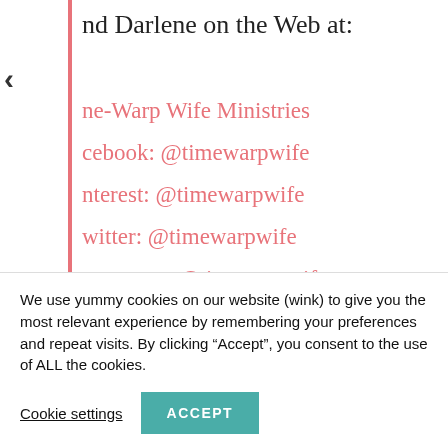nd Darlene on the Web at:
ne-Warp Wife Ministries
cebook: @timewarpwife
nterest: @timewarpwife
witter: @timewarpwife
nstagram: @timewarpwife
ck up my latest Bible Study Devotional, abundance: Bearing Fruit for Every
We use yummy cookies on our website (wink) to give you the most relevant experience by remembering your preferences and repeat visits. By clicking “Accept”, you consent to the use of ALL the cookies.
Cookie settings   ACCEPT